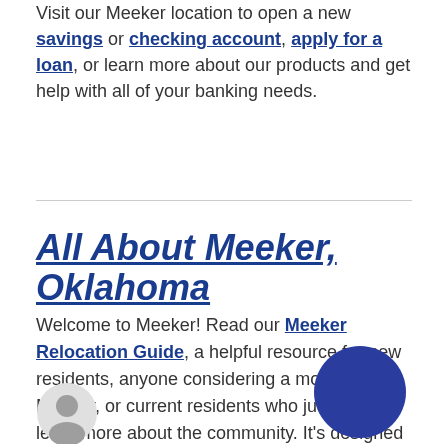Visit our Meeker location to open a new savings or checking account, apply for a loan, or learn more about our products and get help with all of your banking needs.
All About Meeker, Oklahoma
Welcome to Meeker! Read our Meeker Relocation Guide, a helpful resource for new residents, anyone considering a move to Meeker, or current residents who just want to learn more about the community. It's designed to help you learn about our town's history and local schools, utilities, parks and much more!
[Figure (illustration): Dark blue filled circle, decorative element]
[Figure (illustration): Gray user/person avatar icon circle]